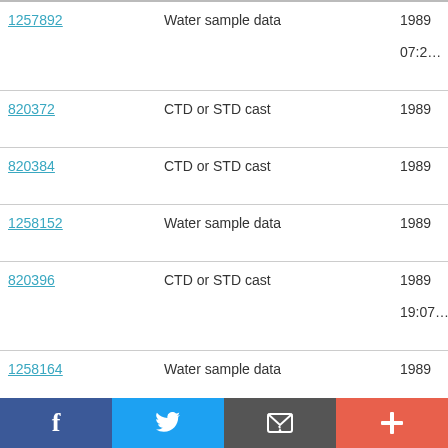| ID | Type | Year |
| --- | --- | --- |
| 1257892 | Water sample data | 1989 07:2… |
| 820372 | CTD or STD cast | 1989 |
| 820384 | CTD or STD cast | 1989 |
| 1258152 | Water sample data | 1989 |
| 820396 | CTD or STD cast | 1989 19:07… |
| 1258164 | Water sample data | 1989 |
| 820403 | CTD or STD cast | 1989 |